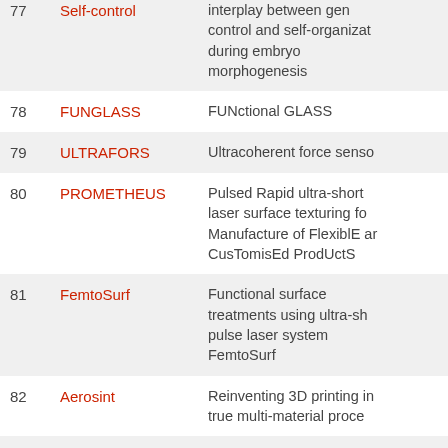| # | Name | Description |
| --- | --- | --- |
| 77 | Self-control | interplay between genetic control and self-organization during embryo morphogenesis |
| 78 | FUNGLASS | FUNctional GLASS |
| 79 | ULTRAFORS | Ultracoherent force sensors |
| 80 | PROMETHEUS | Pulsed Rapid ultra-short laser surface texturing for Manufacture of FlexiblE and CusTomisEd ProdUctS |
| 81 | FemtoSurf | Functional surface treatments using ultra-short pulse laser system FemtoSurf |
| 82 | Aerosint | Reinventing 3D printing into a true multi-material process |
| 83 | NGenMech | Next Generation of... |